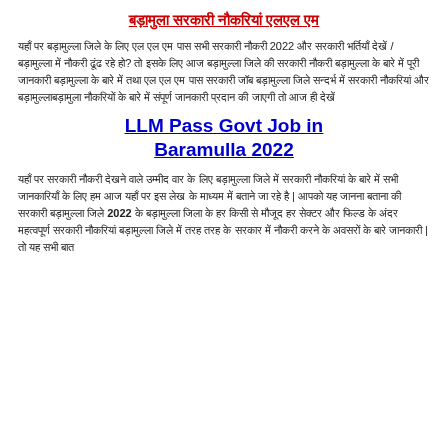बड़ामुला सरकारी नौकरियां एलएल एम
यहाँ पर बड़ामुल्ला जिले के लिए एल एल एम पास सभी सरकारी नौकरी 2022 और सरकारी भर्तियाँ देखें / बड़ामुल्ला में नौकरी ढूंढ रहे हो? तो इसके लिए आज बड़ामुल्ला जिले की सरकारी नौकरी बड़ामुल्ला के बारे में पूरी जानकारी बड़ामुल्ला के बारे में तथा एल एल एम पास सरकारी जॉब बड़ामुल्ला जिले सन्दर्भ में सरकारी नौकरियां और बड़ामुल्लाबड़ामुला नौकरियों के बारे में संपूर्ण जानकारी प्रदान की जाएगी तो आज ही देखें
LLM Pass Govt Job in Baramulla 2022
यहाँ पर सरकारी नौकरी देखने वाले उम्मीद वार के लिए बड़ामुल्ला जिले में सरकारी नौकरियां के बारे में सभी जानकारियाँ के लिए हम आज यहाँ पर इस लेख के माध्यम में बताने जा रहे है | आपको यह जानना बताना की सरकारी बड़ामुल्ला जिले 2022 के बड़ामुल्ला जिला के हर किसी से मौजूद हर सेक्टर और फिल्ड के अंदर महत्वपूर्ण सरकारी नौकरियां बड़ामुल्ला जिले में तरह तरह के सरकार में नौकरी करने के अवसरों के बारे जानकारी | तो यह सभी बात